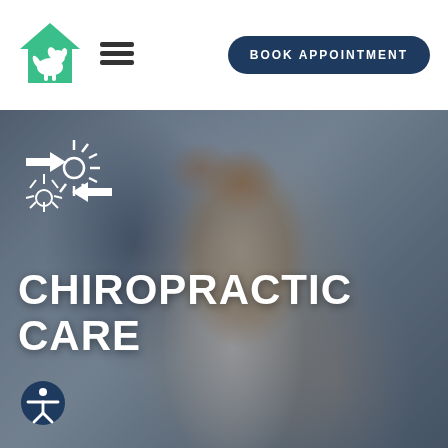[Figure (logo): Green house/pet logo icon with dog silhouette]
[Figure (other): Hamburger menu icon (three horizontal lines)]
BOOK APPOINTMENT
[Figure (photo): Veterinarian holding a Jack Russell terrier dog on an exam table. White and brown dog faces the camera. Man in dark scrubs smiles in background. Chiropractic adjustment icon overlay (arrows and sun burst) in upper left of photo.]
CHIROPRACTIC CARE
[Figure (other): Accessibility icon - person in circle, teal/dark blue background]